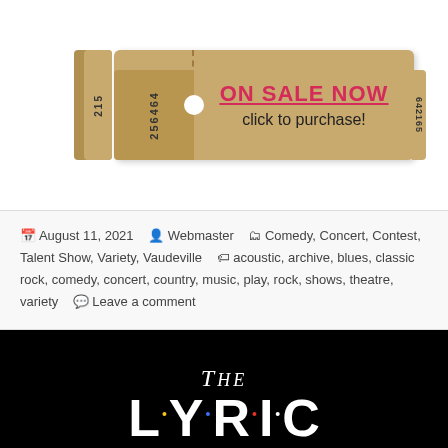[Figure (illustration): A ticket stub graphic with 'ON SALE NOW' in red and 'click to purchase!' text on a tan/khaki colored ticket background.]
August 11, 2021  Webmaster  Comedy, Concert, Contest, Talent Show, Variety, Vaudeville  acoustic, archive, blues, classic rock, comedy, concert, country, music, play, rock, shows, theatre, variety  Leave a comment
[Figure (logo): The Lyric Recovers logo on black background. 'THE' in white serif italic above large white letters 'L·Y·R·I·C' with colored dots between letters (yellow, blue, red, white). 'RECOVERS' below in black text on yellow banner.]